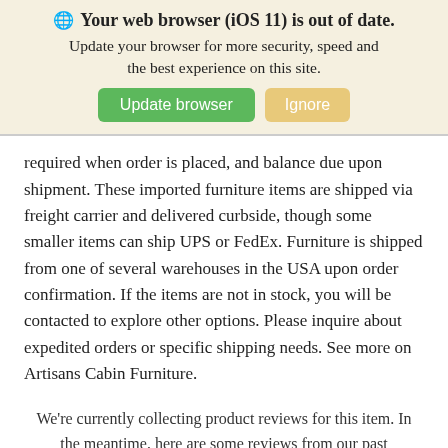[Figure (screenshot): Browser update banner with globe icon, bold title 'Your web browser (iOS 11) is out of date.', subtitle text, and two buttons: 'Update browser' (green) and 'Ignore' (tan/yellow)]
required when order is placed, and balance due upon shipment. These imported furniture items are shipped via freight carrier and delivered curbside, though some smaller items can ship UPS or FedEx. Furniture is shipped from one of several warehouses in the USA upon order confirmation. If the items are not in stock, you will be contacted to explore other options. Please inquire about expedited orders or specific shipping needs. See more on Artisans Cabin Furniture.
We're currently collecting product reviews for this item. In the meantime, here are some reviews from our past customers sharing their overall shopping experience.